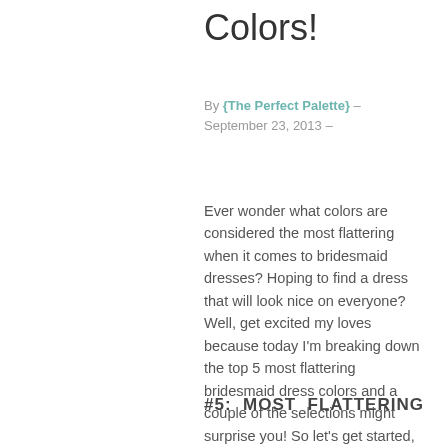Colors!
By {The Perfect Palette} – September 23, 2013 –
Ever wonder what colors are considered the most flattering when it comes to bridesmaid dresses? Hoping to find a dress that will look nice on everyone? Well, get excited my loves because today I'm breaking down the top 5 most flattering bridesmaid dress colors and a couple of the selections might surprise you! So let's get started, shall we?
#5: MOST FLATTERING